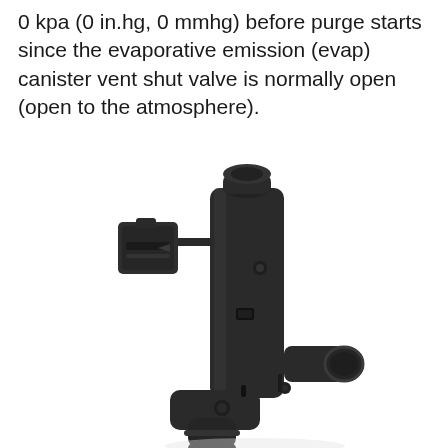0 kpa (0 in.hg, 0 mmhg) before purge starts since the evaporative emission (evap) canister vent shut valve is normally open (open to the atmosphere).
[Figure (photo): Photograph of a black plastic evaporative emission (evap) canister vent shut valve component, showing the solenoid body with electrical connector on the left, top port, side port with fitting, and bottom hose port.]